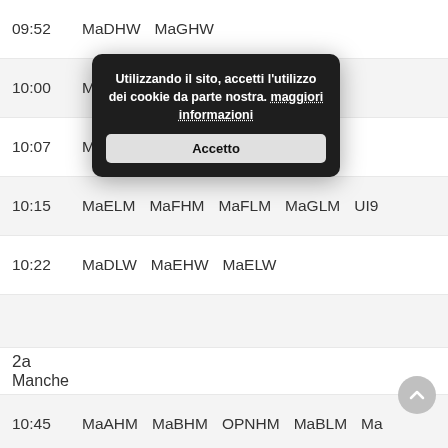| Time | Col1 | Col2 | Col3 | Col4 | Col5 |
| --- | --- | --- | --- | --- | --- |
| 09:52 | MaDHW | MaGHW |  |  |  |
| 10:00 | MaDHM | MaEHM | MaFLM |  |  |
| 10:07 | MaALW | MaFLM | MaCLW |  |  |
| 10:15 | MaELM | MaFHM | MaFLM | MaGLM | UI9 |
| 10:22 | MaDLW | MaEHW | MaELW |  |  |
| 2a |  |  |  |  |  |
| Manche |  |  |  |  |  |
| 10:45 | MaAHM | MaBHM | OPNHM | MaBLM | Ma |
| 10:52 | MaAHW | MaBHW | MaCHW | OPNHW | PR3 |
| 11:00 | MaCHM |  |  |  |  |
Utilizzando il sito, accetti l'utilizzo dei cookie da parte nostra. maggiori informazioni
Accetto